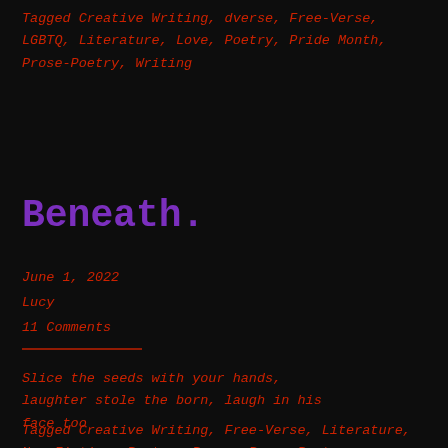Tagged Creative Writing, dverse, Free-Verse, LGBTQ, Literature, Love, Poetry, Pride Month, Prose-Poetry, Writing
Beneath.
June 1, 2022
Lucy
11 Comments
Slice the seeds with your hands, laughter stole the born, laugh in his face too
Tagged Creative Writing, Free-Verse, Literature, Non-Fiction, Poetry, Prose, Prose-Poetry